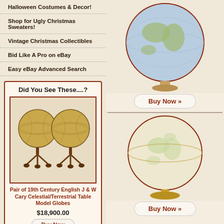Halloween Costumes & Decor!
Shop for Ugly Christmas Sweaters!
Vintage Christmas Collectibles
Bid Like A Pro on eBay
Easy eBay Advanced Search
Did You See These....?
[Figure (photo): Pair of antique globe stands on wooden tripod bases]
Pair of 19th Century English J & W Cary Celestial/Terrestrial Table Model Globes
$18,900.00
[Figure (photo): Blue/grey globe on wooden base]
[Figure (photo): Cream/beige globe on brass/gold base]
Buy Now »
Buy Now »
Buy Now